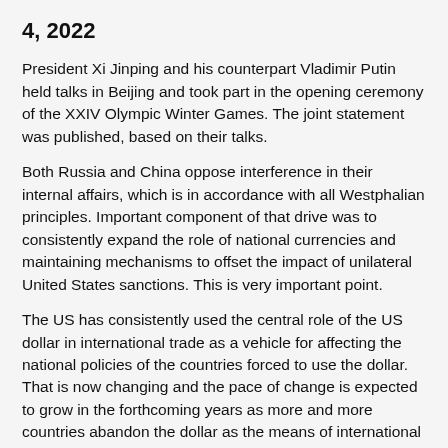4, 2022
President Xi Jinping and his counterpart Vladimir Putin held talks in Beijing and took part in the opening ceremony of the XXIV Olympic Winter Games. The joint statement was published, based on their talks.
Both Russia and China oppose interference in their internal affairs, which is in accordance with all Westphalian principles. Important component of that drive was to consistently expand the role of national currencies and maintaining mechanisms to offset the impact of unilateral United States sanctions. This is very important point.
The US has consistently used the central role of the US dollar in international trade as a vehicle for affecting the national policies of the countries forced to use the dollar. That is now changing and the pace of change is expected to grow in the forthcoming years as more and more countries abandon the dollar as the means of international trade payments.